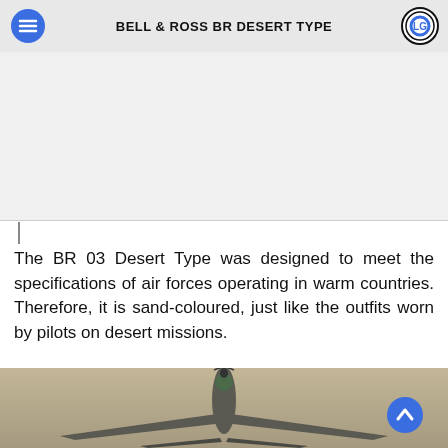BELL & ROSS BR DESERT TYPE
[Figure (photo): Light/white image area placeholder at top of article, likely a watch photo cropped]
The BR 03 Desert Type was designed to meet the specifications of air forces operating in warm countries. Therefore, it is sand-coloured, just like the outfits worn by pilots on desert missions.
[Figure (photo): Fighter jet (Dassault Rafale or similar) photographed head-on from below against a hazy sky]